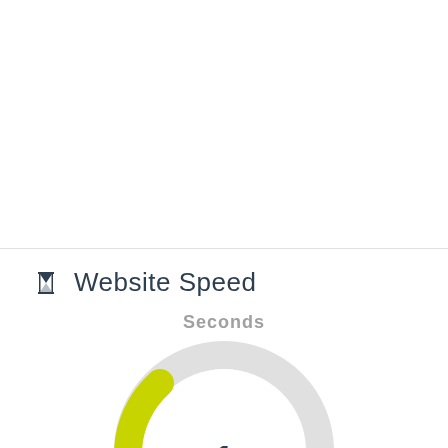Website Speed
Seconds
[Figure (donut-chart): A partial donut/gauge chart showing website speed in seconds. The gauge arc is light gray, with a yellow-green filled segment at the lower left indicating a value of 1 second. The number '1' is displayed in the center-bottom of the gauge.]